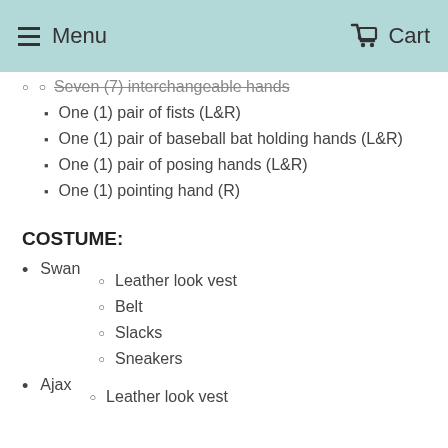Menu   Cart
Seven (7) interchangeable hands
One (1) pair of fists (L&R)
One (1) pair of baseball bat holding hands (L&R)
One (1) pair of posing hands (L&R)
One (1) pointing hand (R)
COSTUME:
Swan
Leather look vest
Belt
Slacks
Sneakers
Ajax
Leather look vest